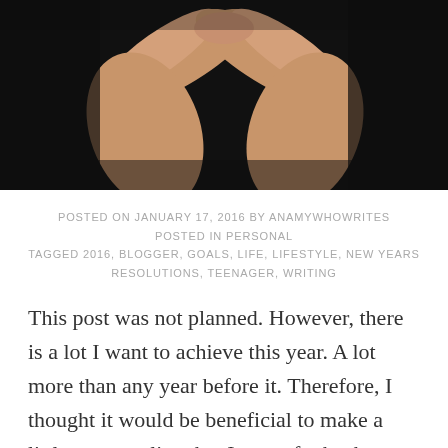[Figure (photo): Close-up photo of hands forming a heart shape against a black background]
POSTED ON JANUARY 17, 2016 BY ANAMYWHOWRITES
POSTED IN PERSONAL
TAGGED 2016, BLOGGER, GOALS, LIFE, LIFESTYLE, NEW YEARS RESOLUTIONS, TEENAGER, WRITING
This post was not planned. However, there is a lot I want to achieve this year. A lot more than any year before it. Therefore, I thought it would be beneficial to make a little space online that I can refer back to that includes my goals and ambitions for 2016. This will also make it easier to reflect at the end of the